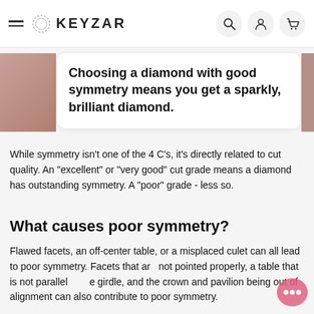KEYZAR
Choosing a diamond with good symmetry means you get a sparkly, brilliant diamond.
While symmetry isn't one of the 4 C's, it's directly related to cut quality. An "excellent" or "very good" cut grade means a diamond has outstanding symmetry. A "poor" grade - less so.
What causes poor symmetry?
Flawed facets, an off-center table, or a misplaced culet can all lead to poor symmetry. Facets that are not pointed properly, a table that is not parallel to the girdle, and the crown and pavilion being out of alignment can also contribute to poor symmetry.